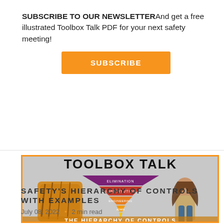SUBSCRIBE TO OUR NEWSLETTERAnd get a free illustrated Toolbox Talk PDF for your next safety meeting!
SUBSCRIBE
[Figure (illustration): Toolbox Talk poster showing the Hierarchy of Controls as an inverted pyramid with colored layers (purple, red, orange, yellow), a tiger on the left, a woman on the right, and text 'THE HIERARCHY OF CONTROLS' at the bottom.]
SAFETY'S HIERARCHY OF CONTROLS WITH EXAMPLES
July 08, 2022 • 2 min read